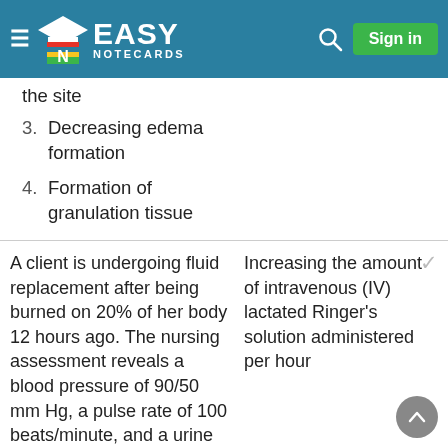Easy Notecards — Sign in
the site
3. Decreasing edema formation
4. Formation of granulation tissue
A client is undergoing fluid replacement after being burned on 20% of her body 12 hours ago. The nursing assessment reveals a blood pressure of 90/50 mm Hg, a pulse rate of 100 beats/minute, and a urine output of 20 mL over the past hour. The nurse reports the findings to the
Increasing the amount of intravenous (IV) lactated Ringer's solution administered per hour